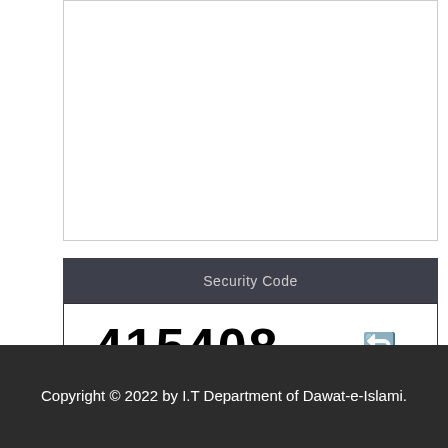[Figure (screenshot): Empty textarea input field with border]
Security Code
[Figure (screenshot): CAPTCHA display showing number 415408 with a refresh icon]
[Figure (screenshot): Empty text input field for entering security code]
Post Comment
Copyright © 2022 by I.T Department of Dawat-e-Islami.